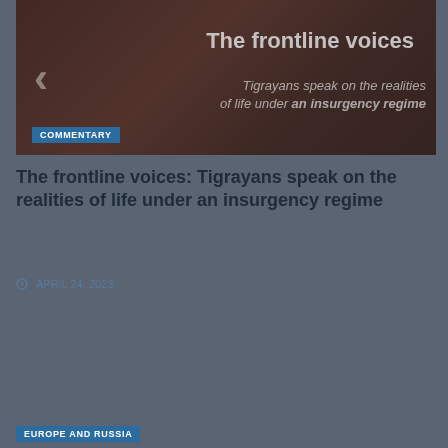[Figure (photo): Dark reddish-toned banner image with text overlay. Shows 'The frontline voices' as large heading, with subtitle 'Tigrayans speak on the realities of life under an insurgency regime'. A COMMENTARY badge appears in the lower left corner of the image. A left arrow is on the left side.]
The frontline voices: Tigrayans speak on the realities of life under an insurgency regime
APRIL 24, 2023
EUROPE AND RUSSIA